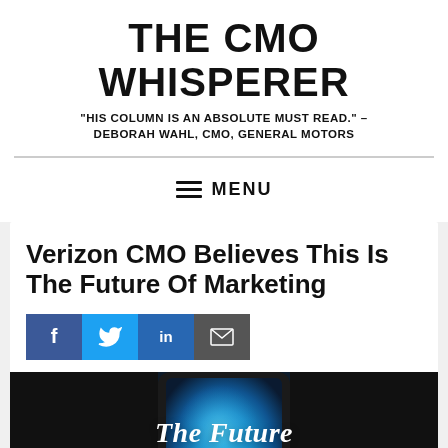THE CMO WHISPERER
"HIS COLUMN IS AN ABSOLUTE MUST READ." – DEBORAH WAHL, CMO, GENERAL MOTORS
≡ MENU
Verizon CMO Believes This Is The Future Of Marketing
[Figure (illustration): Social media share buttons: Facebook (blue), Twitter (light blue), LinkedIn (dark blue), Email (gray)]
[Figure (photo): A smartphone with a teal/blue glowing screen displaying the text 'The Future is calling...' against a dark background]